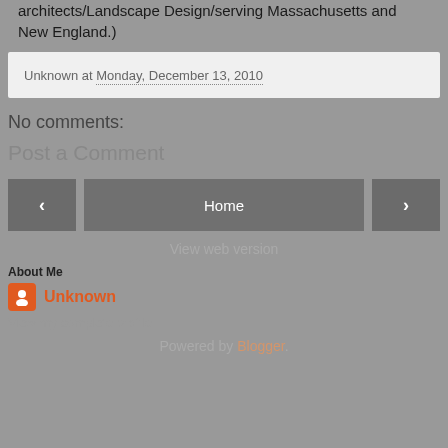architects/Landscape Design/serving Massachusetts and New England.)
Unknown at Monday, December 13, 2010
No comments:
Post a Comment
[Figure (screenshot): Navigation buttons: left arrow, Home button, right arrow]
View web version
About Me
Unknown
View my complete profile
Powered by Blogger.